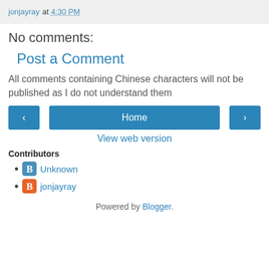jonjayray at 4:30 PM
No comments:
Post a Comment
All comments containing Chinese characters will not be published as I do not understand them
Home | < | >
View web version
Contributors
Unknown
jonjayray
Powered by Blogger.